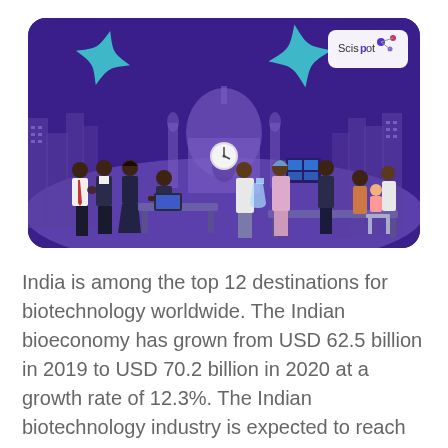[Figure (illustration): Illustration showing Indian biotech scene: dark purple background with silhouette of Taj Mahal and city skyline. Left side shows business professionals in a meeting/handshake scenario. Right side shows scientists in lab coats working with equipment and screens. Decorative teal star shapes in background. Scispot logo in top-right corner on white rounded rectangle badge.]
India is among the top 12 destinations for biotechnology worldwide. The Indian bioeconomy has grown from USD 62.5 billion in 2019 to USD 70.2 billion in 2020 at a growth rate of 12.3%. The Indian biotechnology industry is expected to reach